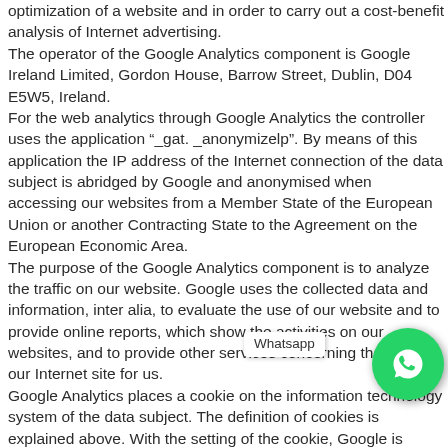optimization of a website and in order to carry out a cost-benefit analysis of Internet advertising. The operator of the Google Analytics component is Google Ireland Limited, Gordon House, Barrow Street, Dublin, D04 E5W5, Ireland. For the web analytics through Google Analytics the controller uses the application “_gat. _anonymizelp”. By means of this application the IP address of the Internet connection of the data subject is abridged by Google and anonymised when accessing our websites from a Member State of the European Union or another Contracting State to the Agreement on the European Economic Area. The purpose of the Google Analytics component is to analyze the traffic on our website. Google uses the collected data and information, inter alia, to evaluate the use of our website and to provide online reports, which show the activities on our websites, and to provide other services concerning the use of our Internet site for us. Google Analytics places a cookie on the information technology system of the data subject. The definition of cookies is explained above. With the setting of the cookie, Google is enabled to analyze the use of our website. With each call-up to one of the individual pages of this Internet site, which is operated by the controller and into which a Google Analytics component was [integrated, the Int...] browser on the information technology [system] of the data subject will automatically submit data through the Google Analytics component for the purpose of online advertising and the settlement of commissions to Google. During the
[Figure (logo): WhatsApp floating button overlay with green circle and phone icon, with label 'Whatsapp']